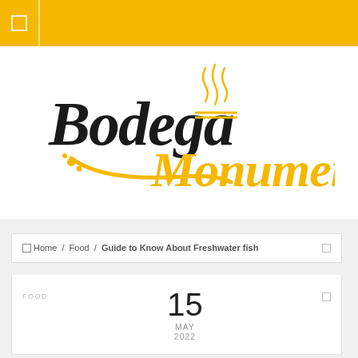Bodega Monumental
[Figure (logo): Bodega Monumental logo with stylized black script text 'Bodega' and gold 'Monumental' text with steam/flame icon and decorative swash]
Home / Food / Guide to Know About Freshwater fish
FOOD
15
MAY
2022